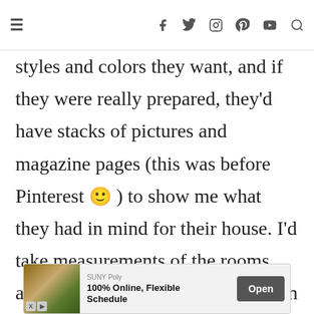≡ [social icons: Facebook, Twitter, Instagram, Pinterest, YouTube, Search]
styles and colors they want, and if they were really prepared, they'd have stacks of pictures and magazine pages (this was before Pinterest 🙂 ) to show me what they had in mind for their house. I'd take measurements of the rooms and photograph the rooms, and then I'd take all of that info back to my office and come up with a cohesive design plan based on all of the information I had just gathered.
[Figure (other): Advertisement banner: SUNY Poly, 100% Online, Flexible Schedule. Open button on right. Building image on left.]